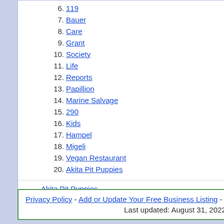6. 119
7. Bauer
8. Care
9. Grant
10. Society
11. Life
12. Reports
13. Papillion
14. Marine Salvage
15. 290
16. Kids
17. Hampel
18. Migeli
19. Vegan Restaurant
20. Akita Pit Puppies
Akita Pit Puppies
Privacy Policy - Add or Update Your Free Business Listing - Last updated: August 31, 2022